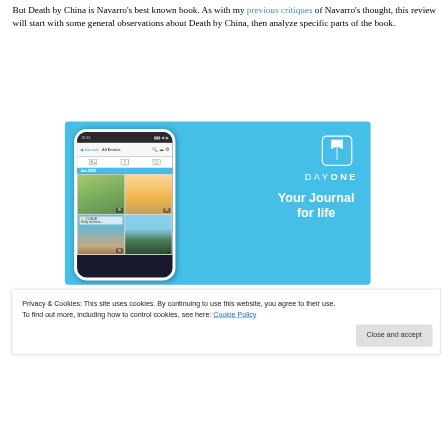But Death by China is Navarro's best known book. As with my previous critiques of Navarro's thought, this review will start with some general observations about Death by China, then analyze specific parts of the book.
[Figure (screenshot): Advertisement for Day One journaling app. Shows a smartphone screen with journal entries including photos of a garden, beach, and palm trees. On the right side is the Day One logo (book icon), brand name 'DAY ONE' in spaced letters, and tagline 'Your Journal for life' on a light blue background.]
Privacy & Cookies: This site uses cookies. By continuing to use this website, you agree to their use.
To find out more, including how to control cookies, see here: Cookie Policy
A striking theme in Death by China is that its tone and